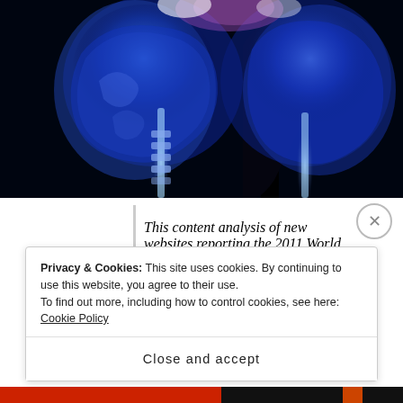[Figure (photo): Medical imaging scan showing two side-profile views of a human head/neck with blue and white X-ray or MRI coloring, black background]
This content analysis of new websites reporting the 2011 World Health Organization's new classification of a possible connection between cell phone use and brain cancer indicated that 20 percent of the stories used incorrect terms to
Privacy & Cookies: This site uses cookies. By continuing to use this website, you agree to their use.
To find out more, including how to control cookies, see here: Cookie Policy
Close and accept